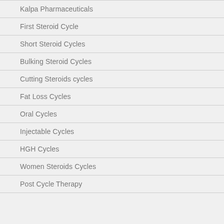Kalpa Pharmaceuticals
First Steroid Cycle
Short Steroid Cycles
Bulking Steroid Cycles
Cutting Steroids cycles
Fat Loss Cycles
Oral Cycles
Injectable Cycles
HGH Cycles
Women Steroids Cycles
Post Cycle Therapy